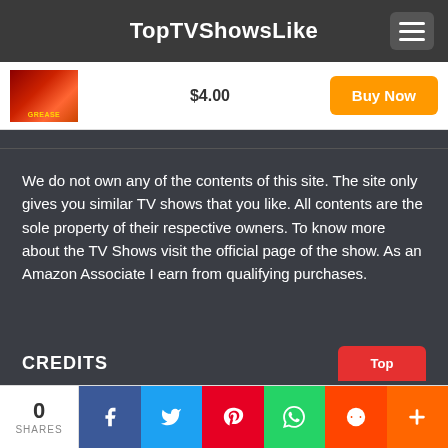TopTVShowsLike
$4.00
Buy Now
We do not own any of the contents of this site. The site only gives you similar TV shows that you like. All contents are the sole property of their respective owners. To know more about the TV Shows visit the official page of the show. As an Amazon Associate I earn from qualifying purchases.
CREDITS
0 SHARES